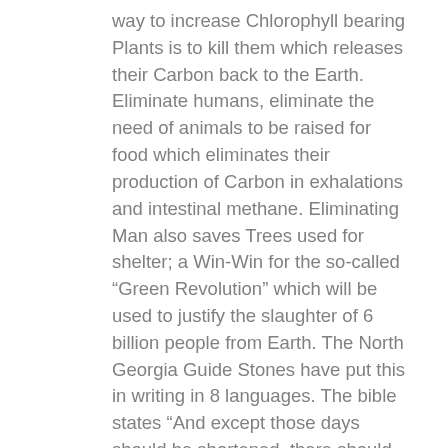way to increase Chlorophyll bearing Plants is to kill them which releases their Carbon back to the Earth. Eliminate humans, eliminate the need of animals to be raised for food which eliminates their production of Carbon in exhalations and intestinal methane. Eliminating Man also saves Trees used for shelter; a Win-Win for the so-called “Green Revolution” which will be used to justify the slaughter of 6 billion people from Earth. The North Georgia Guide Stones have put this in writing in 8 languages. The bible states “And except those days should be shortened, there should no flesh be saved…” Mat 24:22 This reversal of Good and Evil is a Gnostic “Dualist” doctrine; Cathars “Perfecti” were liberated from their material bodies in 1244 and their wealth in 1311. “Every 700 years the Laurel grows green again” tells us why D-Day was 1944 and why 2011 may the year the Black Horse rider absorbs the world’s wealth. In Gnostic summary; The “Hubble Parameter”